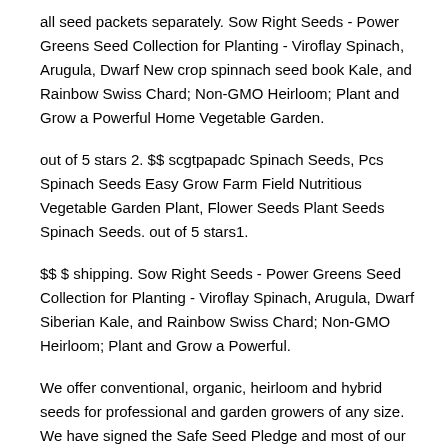all seed packets separately. Sow Right Seeds - Power Greens Seed Collection for Planting - Viroflay Spinach, Arugula, Dwarf New crop spinnach seed book Kale, and Rainbow Swiss Chard; Non-GMO Heirloom; Plant and Grow a Powerful Home Vegetable Garden.
out of 5 stars 2. $$ scgtpapadc Spinach Seeds, Pcs Spinach Seeds Easy Grow Farm Field Nutritious Vegetable Garden Plant, Flower Seeds Plant Seeds Spinach Seeds. out of 5 stars1.
$$ $ shipping. Sow Right Seeds - Power Greens Seed Collection for Planting - Viroflay Spinach, Arugula, Dwarf Siberian Kale, and Rainbow Swiss Chard; Non-GMO Heirloom; Plant and Grow a Powerful.
We offer conventional, organic, heirloom and hybrid seeds for professional and garden growers of any size. We have signed the Safe Seed Pledge and most of our varieties are available as untreated seed. Let us be your quality farm, greenhouse and garden seed provider. NE Seed is a non-GMO Seed Company.
Good Seed, Glad Harvest. While spinach is a wind-pollinated crop